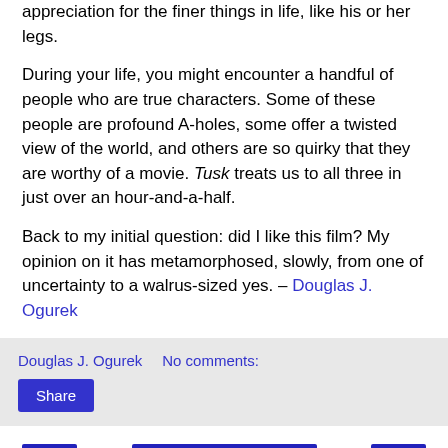appreciation for the finer things in life, like his or her legs.
During your life, you might encounter a handful of people who are true characters. Some of these people are profound A-holes, some offer a twisted view of the world, and others are so quirky that they are worthy of a movie. Tusk treats us to all three in just over an hour-and-a-half.
Back to my initial question: did I like this film? My opinion on it has metamorphosed, slowly, from one of uncertainty to a walrus-sized yes. – Douglas J. Ogurek
Douglas J. Ogurek    No comments:
Share
Home
View web version
Powered by Blogger